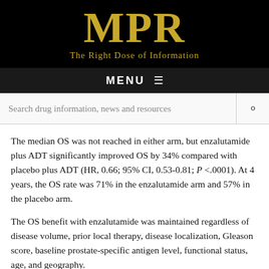MPR — The Right Dose of Information
The median OS was not reached in either arm, but enzalutamide plus ADT significantly improved OS by 34% compared with placebo plus ADT (HR, 0.66; 95% CI, 0.53-0.81; P <.0001). At 4 years, the OS rate was 71% in the enzalutamide arm and 57% in the placebo arm.
The OS benefit with enzalutamide was maintained regardless of disease volume, prior local therapy, disease localization, Gleason score, baseline prostate-specific antigen level, functional status, age, and geography.